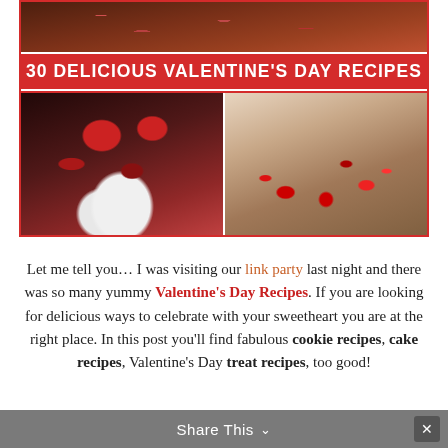[Figure (photo): Collage of Valentine's Day food photos: top is a dark chocolate cookie/brownie with red sprinkles, bottom-left shows chocolate truffles with cherries in a white bowl, bottom-right shows chocolate fudge pieces with red and white sprinkles. Red banner in the middle reads '30 DELICIOUS VALENTINE'S DAY RECIPES'.]
30 DELICIOUS VALENTINE'S DAY RECIPES
Let me tell you… I was visiting our link party last night and there was so many yummy Valentine's Day Recipes. If you are looking for delicious ways to celebrate with your sweetheart you are at the right place. In this post you'll find fabulous cookie recipes, cake recipes, Valentine's Day treat recipes, too good!
Share This